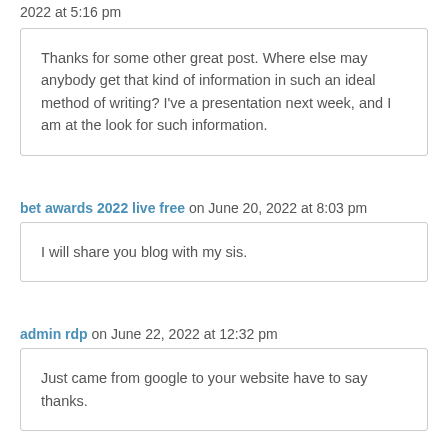2022 at 5:16 pm
Thanks for some other great post. Where else may anybody get that kind of information in such an ideal method of writing? I've a presentation next week, and I am at the look for such information.
bet awards 2022 live free on June 20, 2022 at 8:03 pm
I will share you blog with my sis.
admin rdp on June 22, 2022 at 12:32 pm
Just came from google to your website have to say thanks.